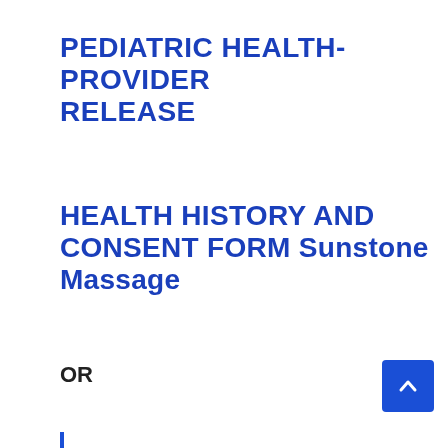PEDIATRIC HEALTH-PROVIDER RELEASE
HEALTH HISTORY AND CONSENT FORM Sunstone Massage
OR